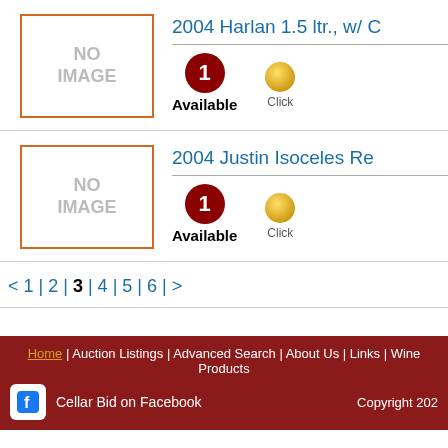[Figure (other): No image placeholder box with orange border for wine listing]
2004 Harlan 1.5 ltr., w/ C...
1 Available
[Figure (other): No image placeholder box with orange border for wine listing]
2004 Justin Isoceles Re...
1 Available
< 1 | 2 | 3 | 4 | 5 | 6 | >
Home | Auction Listings | Advanced Search | About Us | Links | Wine Products... | Cellar Bid on Facebook | Copyright 202...